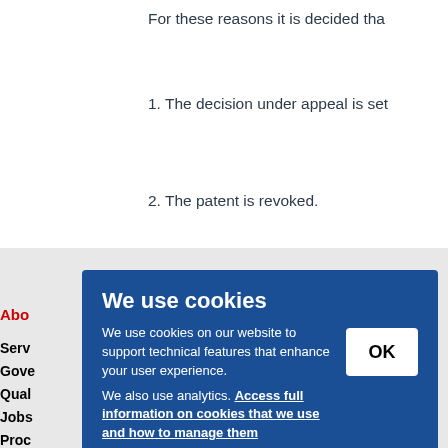For these reasons it is decided tha
1. The decision under appeal is set
2. The patent is revoked.
We use cookies
We use cookies on our website to support technical features that enhance your user experience.
We also use analytics. Access full information on cookies that we use and how to manage them
Abo
Serv
Gove
Qual
Jobs
Proc